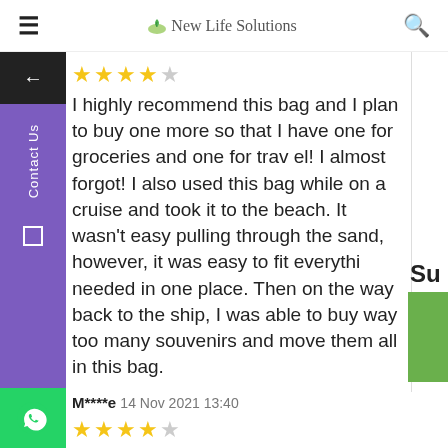New Life Solutions
I highly recommend this bag and I plan to buy one more so that I have one for groceries and one for trav el! I almost forgot! I also used this bag while on a cruise and took it to the beach. It wasn't easy pulling through the sand, however, it was easy to fit everything needed in one place. Then on the way back to the ship, I was able to buy way too many souvenirs and move them all in this bag.
M****e  14 Nov 2021 13:40
This rolling shopper is great! Since I am a local actor, have costumes, props, make-up, purse, water bottle, etc. to take with me on a gig. Depending on what I'm doing, I am either carrying a tote bag in addition to a large purse, or week-ender luggage on wheels. The